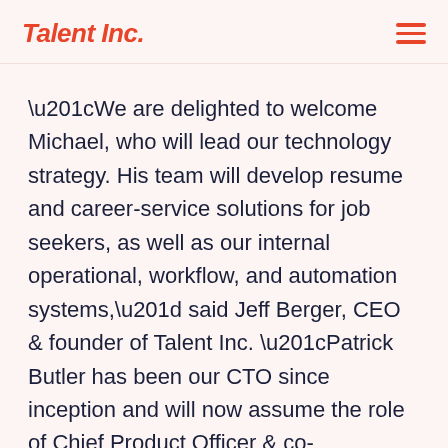Talent Inc.
“We are delighted to welcome Michael, who will lead our technology strategy. His team will develop resume and career-service solutions for job seekers, as well as our internal operational, workflow, and automation systems,” said Jeff Berger, CEO & founder of Talent Inc. “Patrick Butler has been our CTO since inception and will now assume the role of Chief Product Officer & co-founder.”